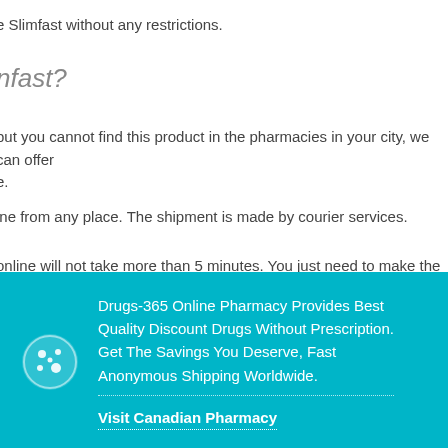e Slimfast without any restrictions.
nfast?
but you cannot find this product in the pharmacies in your city, we can offer e.
ine from any place. The shipment is made by courier services.
online will not take more than 5 minutes. You just need to make the order of scify your address, phone number, and e-mail, so that a representative of contact your and specify the order details.
ine, read information about the medication and instruction for the use. If ease contact a consultant of the pharmacy, and get answers to your
Drugs-365 Online Pharmacy Provides Best Quality Discount Drugs Without Prescription. Get The Savings You Deserve, Fast Anonymous Shipping Worldwide. Visit Canadian Pharmacy